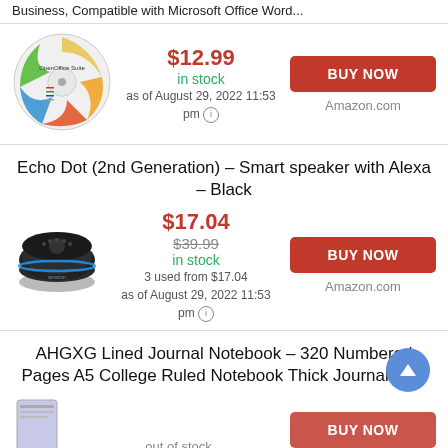Business, Compatible with Microsoft Office Word...
[Figure (photo): OpenOffice Suite CD disc product image]
$12.99 in stock as of August 29, 2022 11:53 pm
BUY NOW Amazon.com
Echo Dot (2nd Generation) - Smart speaker with Alexa - Black
[Figure (photo): Echo Dot (2nd Generation) black smart speaker product image]
$17.04 $39.99 in stock 3 used from $17.04 as of August 29, 2022 11:53 pm
BUY NOW Amazon.com
AHGXG Lined Journal Notebook - 320 Numbered Pages A5 College Ruled Notebook Thick Journal for...
out of stock